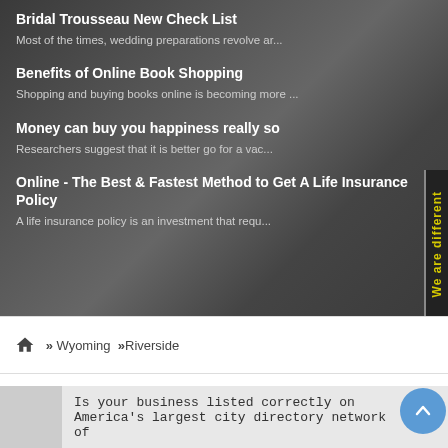Bridal Trousseau New Check List
Most of the times, wedding preparations revolve ar...
Benefits of Online Book Shopping
Shopping and buying books online is becoming more ...
Money can buy you happiness really so
Researchers suggest that it is better go for a vac...
Online - The Best & Fastest Method to Get A Life Insurance Policy
A life insurance policy is an investment that requ...
We are different
» Wyoming »Riverside
Is your business listed correctly on America's largest city directory network of